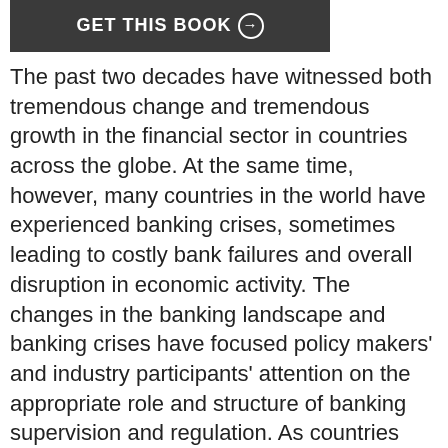[Figure (other): Dark gray button bar with text 'GET THIS BOOK' and a circled arrow icon]
The past two decades have witnessed both tremendous change and tremendous growth in the financial sector in countries across the globe. At the same time, however, many countries in the world have experienced banking crises, sometimes leading to costly bank failures and overall disruption in economic activity. The changes in the banking landscape and banking crises have focused policy makers' and industry participants' attention on the appropriate role and structure of banking supervision and regulation. As countries make different choices